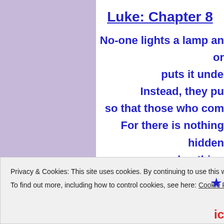Luke: Chapter 8
No-one lights a lamp and
or
puts it unde
Instead, they pu
so that those who com
For there is nothing hidden
and nothing
that will not
Privacy & Cookies: This site uses cookies. By continuing to use this website, you agree to their use.
To find out more, including how to control cookies, see here: Cookie Policy
Close and accept